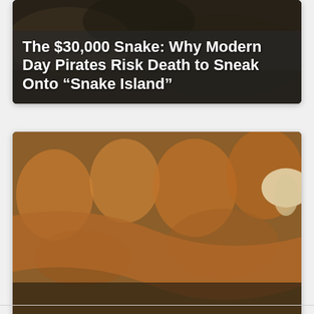[Figure (photo): Dark background photo with a snake, overlaid with bold white text reading 'The $30,000 Snake: Why Modern Day Pirates Risk Death to Sneak Onto "Snake Island"']
The $30,000 Snake: Why Modern Day Pirates Risk Death to Sneak Onto “Snake Island”
[Figure (photo): Close-up photo of a copperhead snake coiled among autumn leaves and mushrooms, overlaid with bold white text reading 'Discover the Largest Copperhead Snake Ever Recorded']
Discover the Largest Copperhead Snake Ever Recorded